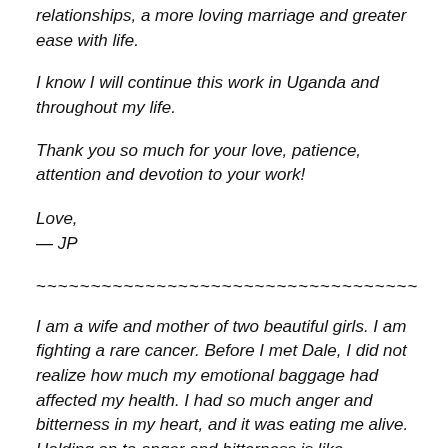relationships, a more loving marriage and greater ease with life.
I know I will continue this work in Uganda and throughout my life.
Thank you so much for your love, patience, attention and devotion to your work!
Love,
— JP
~~~~~~~~~~~~~~~~~~~~~~~~~~~~~~~~~~~
I am a wife and mother of two beautiful girls. I am fighting a rare cancer. Before I met Dale, I did not realize how much my emotional baggage had affected my health. I had so much anger and bitterness in my heart, and it was eating me alive. Holding on to anger and bitterness is like